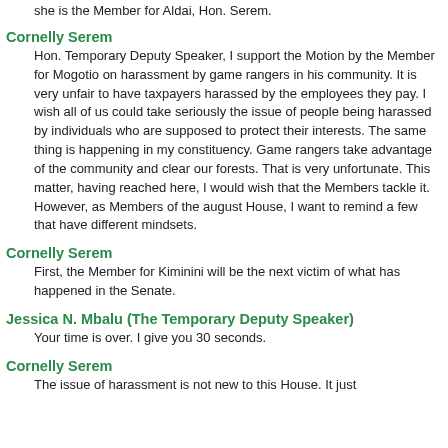she is the Member for Aldai, Hon. Serem.
Cornelly Serem
Hon. Temporary Deputy Speaker, I support the Motion by the Member for Mogotio on harassment by game rangers in his community. It is very unfair to have taxpayers harassed by the employees they pay. I wish all of us could take seriously the issue of people being harassed by individuals who are supposed to protect their interests. The same thing is happening in my constituency. Game rangers take advantage of the community and clear our forests. That is very unfortunate. This matter, having reached here, I would wish that the Members tackle it. However, as Members of the august House, I want to remind a few that have different mindsets.
Cornelly Serem
First, the Member for Kiminini will be the next victim of what has happened in the Senate.
Jessica N. Mbalu (The Temporary Deputy Speaker)
Your time is over. I give you 30 seconds.
Cornelly Serem
The issue of harassment is not new to this House. It just